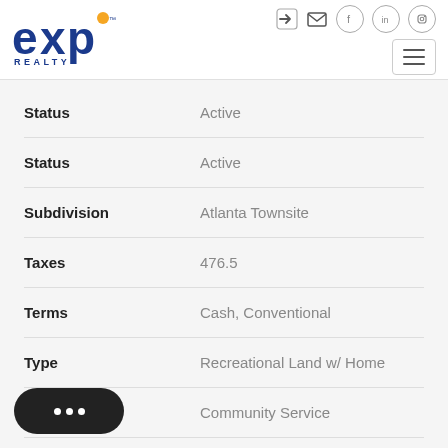[Figure (logo): eXp Realty logo — blue text with orange dot]
| Field | Value |
| --- | --- |
| Status | Active |
| Status | Active |
| Subdivision | Atlanta Townsite |
| Taxes | 476.5 |
| Terms | Cash, Conventional |
| Type | Recreational Land w/ Home |
|  | Community Service |